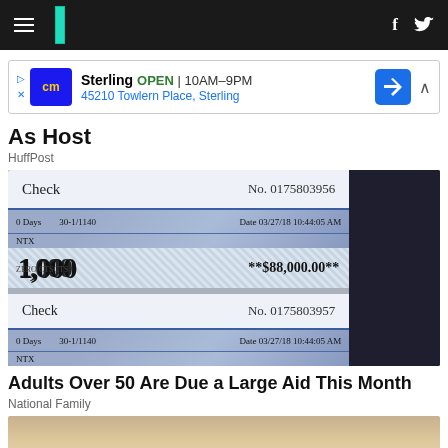HuffPost navigation bar with hamburger menu, logo, and social icons (f, twitter)
[Figure (screenshot): Advertisement banner: Sterling OPEN 10AM-9PM, 45210 Towlern Place, Sterling]
As Host
HuffPost
[Figure (photo): Photo of two checks: Check No. 0175803956 dated 03/27/18 10:44:05 AM, amount **$88,000.00**, and Check No. 0175803957 dated 03/27/18 10:44:05 AM]
Adults Over 50 Are Due a Large Aid This Month
National Family
[Figure (photo): Partial photo of a person's face (blonde hair visible)]